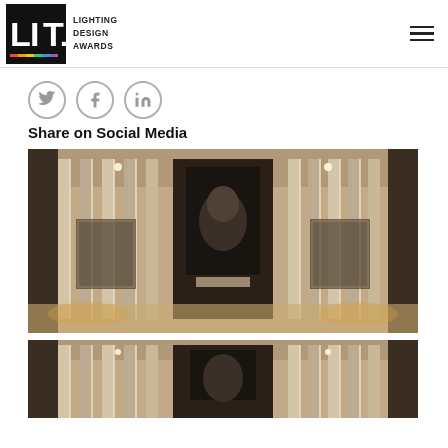LIT LIGHTING DESIGN AWARDS
Share on Social Media
[Figure (photo): Luxury interior lobby with marble panel columns, warm accent lighting, and a large black-and-white classical bust artwork centered on the back wall, with display cases on either side.]
[Figure (photo): Same luxury interior lobby, cropped/partial view from a lower angle showing the marble columns and warm lighting.]